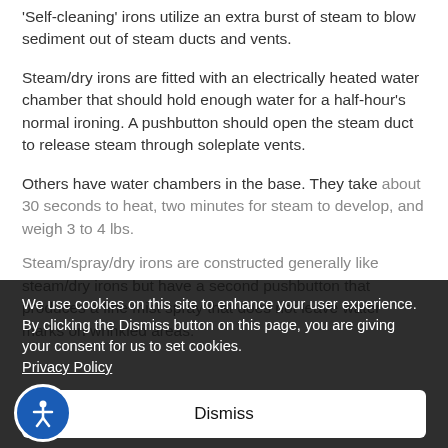'Self-cleaning' irons utilize an extra burst of steam to blow sediment out of steam ducts and vents.
Steam/dry irons are fitted with an electrically heated water chamber that should hold enough water for a half-hour's normal ironing. A pushbutton should open the steam duct to release steam through soleplate vents.
Others have water chambers in the base. They take about 30 seconds to heat, two minutes for steam to develop, and weigh 3 to 4 lbs.
Steam/spray/dry irons are constructed generally like steam/dry irons but have a second pushbutton that produces a fine mist spray that does not leave water marks on wrinkled areas.
We use cookies on this site to enhance your user experience.
By clicking the Dismiss button on this page, you are giving your consent for us to set cookies.
Privacy Policy
Dismiss